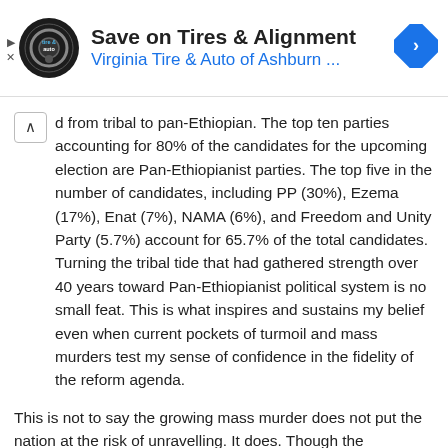[Figure (infographic): Advertisement banner for Virginia Tire & Auto of Ashburn with logo, title 'Save on Tires & Alignment', subtitle 'Virginia Tire & Auto of Ashburn ...', and a blue navigation arrow icon on the right.]
d from tribal to pan-Ethiopian. The top ten parties accounting for 80% of the candidates for the upcoming election are Pan-Ethiopianist parties. The top five in the number of candidates, including PP (30%), Ezema (17%), Enat (7%), NAMA (6%), and Freedom and Unity Party (5.7%) account for 65.7% of the total candidates. Turning the tribal tide that had gathered strength over 40 years toward Pan-Ethiopianist political system is no small feat. This is what inspires and sustains my belief even when current pockets of turmoil and mass murders test my sense of confidence in the fidelity of the reform agenda.
This is not to say the growing mass murder does not put the nation at the risk of unravelling. It does. Though the probability is low, it is not negligible. The real problem that